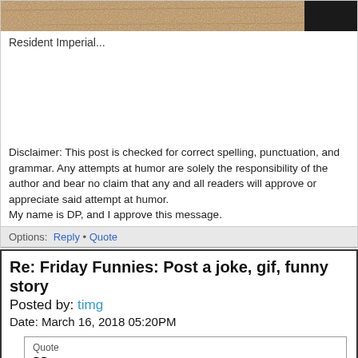[Figure (photo): Top portion of a photo showing sandy/gravelly ground with a dark object at top right corner]
Resident Imperial...
Disclaimer: This post is checked for correct spelling, punctuation, and grammar. Any attempts at humor are solely the responsibility of the author and bear no claim that any and all readers will approve or appreciate said attempt at humor.
My name is DP, and I approve this message.
Options:  Reply • Quote
Re: Friday Funnies: Post a joke, gif, funny story
Posted by: timg
Date: March 16, 2018 05:20PM
Quote
DP
Wow. timg is back!
but did you laugh?